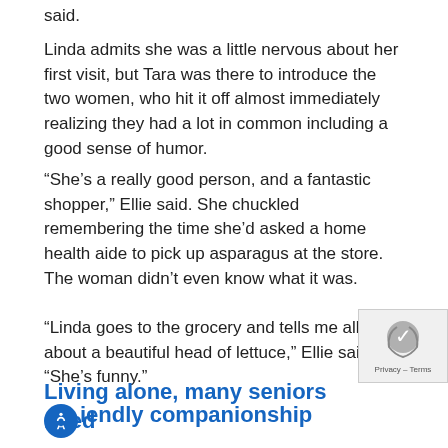said.
Linda admits she was a little nervous about her first visit, but Tara was there to introduce the two women, who hit it off almost immediately realizing they had a lot in common including a good sense of humor.
“She’s a really good person, and a fantastic shopper,” Ellie said. She chuckled remembering the time she’d asked a home health aide to pick up asparagus at the store. The woman didn’t even know what it was.
“Linda goes to the grocery and tells me all about a beautiful head of lettuce,” Ellie said. “She’s funny.”
Living alone, many seniors need friendly companionship